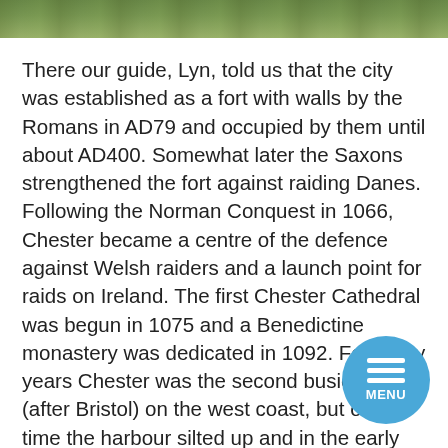[Figure (photo): Partial view of a photo strip at the top of the page showing green foliage/trees in natural outdoor setting]
There our guide, Lyn, told us that the city was established as a fort with walls by the Romans in AD79 and occupied by them until about AD400. Somewhat later the Saxons strengthened the fort against raiding Danes. Following the Norman Conquest in 1066, Chester became a centre of the defence against Welsh raiders and a launch point for raids on Ireland. The first Chester Cathedral was begun in 1075 and a Benedictine monastery was dedicated in 1092. For many years Chester was the second busiest port (after Bristol) on the west coast, but over time the harbour silted up and in the early 1800s could not accommodate the larger ships then being built. In the Georgian era, Chester became again a centre of affluence, a town with elegant terraces where the landed aristocracy lived. This trend continued into the Industrial Revolution, when the city was populated